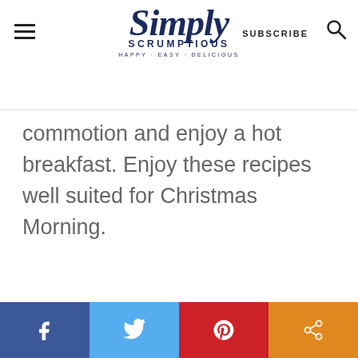Simply Scrumptious — HAPPY · EASY · DELICIOUS | SUBSCRIBE
commotion and enjoy a hot breakfast. Enjoy these recipes well suited for Christmas Morning.
[Figure (other): Social share bar with Facebook, Twitter, Pinterest, and share icons]